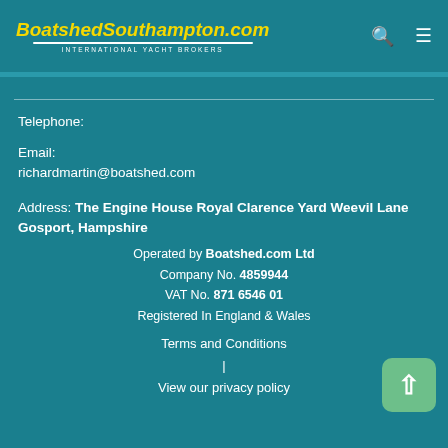BoatshedSouthampton.com INTERNATIONAL YACHT BROKERS
Telephone:
Email:
richardmartin@boatshed.com
Address: The Engine House Royal Clarence Yard Weevil Lane Gosport, Hampshire
Operated by Boatshed.com Ltd
Company No. 4859944
VAT No. 871 6546 01
Registered In England & Wales
Terms and Conditions
|
View our privacy policy